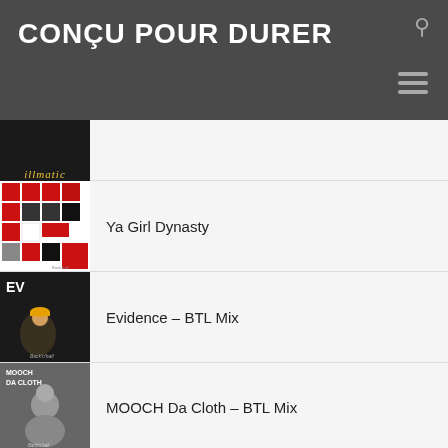CONÇU POUR DURER
Ya Girl Dynasty
Evidence – BTL Mix
MOOCH Da Cloth – BTL Mix